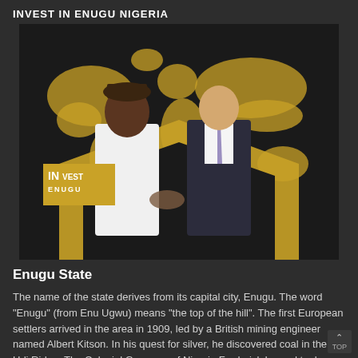INVEST IN ENUGU NIGERIA
[Figure (photo): Promotional photo for Invest in Enugu Nigeria campaign showing two men shaking hands — one in traditional Nigerian attire and one in a business suit — against a gold world map background with a gold diamond/hexagon shape and the Invest Enugu logo badge.]
Enugu State
The name of the state derives from its capital city, Enugu. The word "Enugu" (from Enu Ugwu) means "the top of the hill". The first European settlers arrived in the area in 1909, led by a British mining engineer named Albert Kitson. In his quest for silver, he discovered coal in the Udi Ridge. The Colonial Governor of Nigeria Frederick Lugard took a keen interest in the discovery, and by 1914 the first shipment of coal was made to Britain.